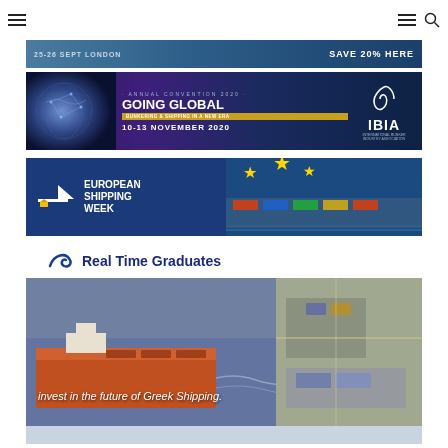Navigation header with hamburger menu and search icons
[Figure (screenshot): Banner ad: 25-26 SEPT LONDON | SAVE 20% HERE — dark blue gradient with white uppercase text]
[Figure (screenshot): IBIA Annual Convention 2020 Going Global banner — purple/dark blue background, globe image, text: ANNUAL CONVENTION 2020 / GOING GLOBAL / BUNKERING & SHIPPING IN A NEW ERA / 10-13 NOVEMBER 2020, with IBIA crescent moon logo]
[Figure (screenshot): European Shipping Week banner — navy blue left panel with ship logo and EUROPEAN SHIPPING WEEK text, right panel shows EU flag stars and container ship from aerial view]
[Figure (screenshot): Real Time Graduates banner — white header with navy logo and 'Real Time Graduates' text, large background image of bulk carrier ship in harbor and aerial port view with text 'invest in the future of Greek Shipping']